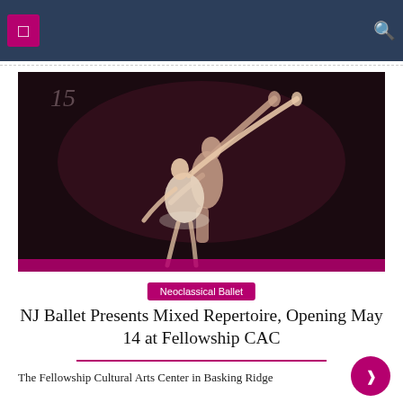[Figure (photo): Two ballet dancers performing on a dark stage; a male dancer supports a female dancer in a white costume as she extends her arms upward gracefully.]
Neoclassical Ballet
NJ Ballet Presents Mixed Repertoire, Opening May 14 at Fellowship CAC
The Fellowship Cultural Arts Center in Basking Ridge